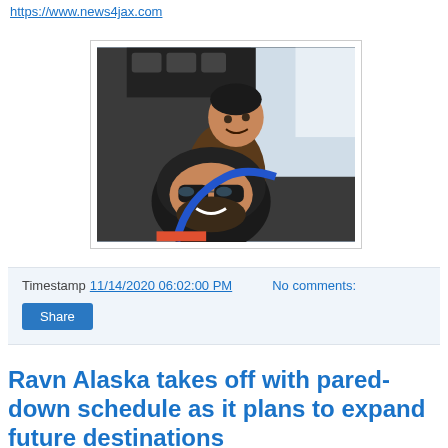https://www.news4jax.com
[Figure (photo): Two people inside an aircraft cockpit. The person in the foreground is wearing sunglasses and a black helmet, smiling. The person in the background is looking upward. Both appear to be skydivers or pilots.]
Timestamp 11/14/2020 06:02:00 PM   No comments:
Share
Ravn Alaska takes off with pared-down schedule as it plans to expand future destinations